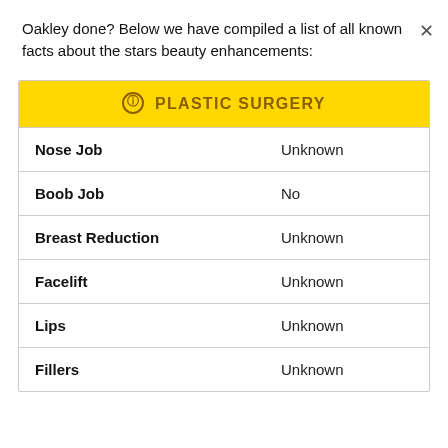Oakley done? Below we have compiled a list of all known facts about the stars beauty enhancements:
| PLASTIC SURGERY |  |
| --- | --- |
| Nose Job | Unknown |
| Boob Job | No |
| Breast Reduction | Unknown |
| Facelift | Unknown |
| Lips | Unknown |
| Fillers | Unknown |